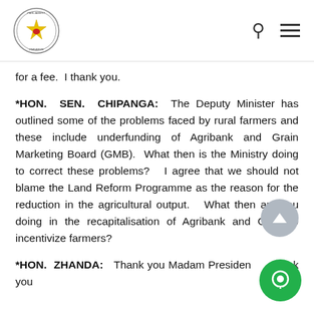Parliament of Zimbabwe
for a fee.  I thank you.
*HON. SEN. CHIPANGA: The Deputy Minister has outlined some of the problems faced by rural farmers and these include underfunding of Agribank and Grain Marketing Board (GMB).  What then is the Ministry doing to correct these problems?   I agree that we should not blame the Land Reform Programme as the reason for the reduction in the agricultural output.   What then are you doing in the recapitalisation of Agribank and GMB to incentivize farmers?
*HON. ZHANDA:  Thank you Madam President. Thank you